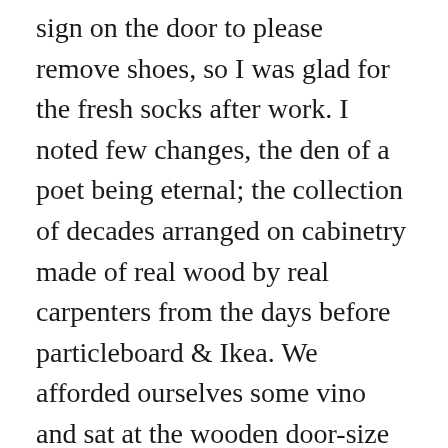sign on the door to please remove shoes, so I was glad for the fresh socks after work. I noted few changes, the den of a poet being eternal; the collection of decades arranged on cabinetry made of real wood by real carpenters from the days before particleboard & Ikea. We afforded ourselves some vino and sat at the wooden door-size table where we used to congregate back when I was a student, that same table that has seen so many poets pass by, that still gathers writers every Sunday to attend Jack's in-home workshops.
Jack Collom has been teaching poetry for 40 of